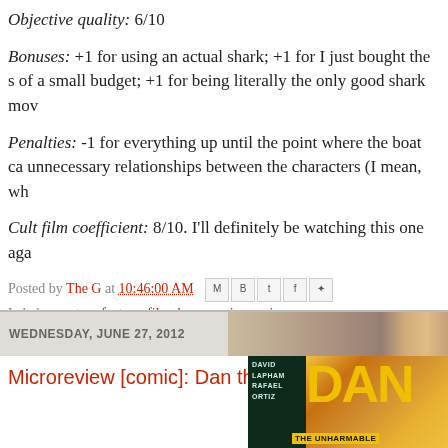Objective quality: 6/10
Bonuses: +1 for using an actual shark; +1 for I just bought the s of a small budget; +1 for being literally the only good shark mov
Penalties: -1 for everything up until the point where the boat ca unnecessary relationships between the characters (I mean, wh
Cult film coefficient: 8/10. I'll definitely be watching this one aga
Posted by The G at 10:46:00 AM
Labels: creature feature, film, horror, microreview
WEDNESDAY, JUNE 27, 2012
Microreview [comic]: Dan the Unharmable
[Figure (photo): Comic book cover for Dan the Unharmable by David Lapham and Rafael Ortiz, showing bold yellow text on dark background]